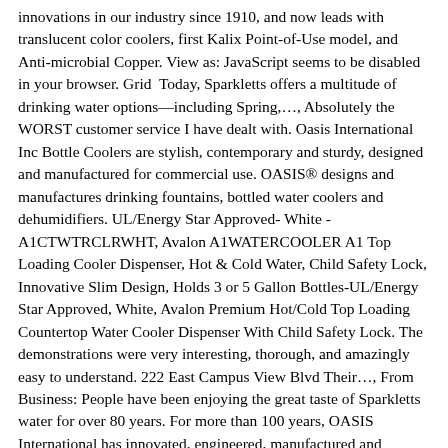innovations in our industry since 1910, and now leads with translucent color coolers, first Kalix Point-of-Use model, and Anti-microbial Copper. View as: JavaScript seems to be disabled in your browser. Grid  Today, Sparkletts offers a multitude of drinking water options—including Spring,…, Absolutely the WORST customer service I have dealt with. Oasis International Inc Bottle Coolers are stylish, contemporary and sturdy, designed and manufactured for commercial use. OASIS® designs and manufactures drinking fountains, bottled water coolers and dehumidifiers. UL/Energy Star Approved- White - A1CTWTRCLRWHT, Avalon A1WATERCOOLER A1 Top Loading Cooler Dispenser, Hot & Cold Water, Child Safety Lock, Innovative Slim Design, Holds 3 or 5 Gallon Bottles-UL/Energy Star Approved, White, Avalon Premium Hot/Cold Top Loading Countertop Water Cooler Dispenser With Child Safety Lock. The demonstrations were very interesting, thorough, and amazingly easy to understand. 222 East Campus View Blvd Their…, From Business: People have been enjoying the great taste of Sparkletts water for over 80 years. For more than 100 years, OASIS International has innovated, engineered, manufactured and distributed some of the world's best clean drinking water solutions.
oasiswatercoolers.com has been informing visitors about topics such as Water Cooler and Dispenser, Plumbed in Water Coolers and 5 Gal Water Cooler. These factors are similar to those you might use to determine which business to select from a local